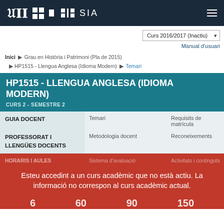UJI SIA
Curs 2016/2017 (Inactiu)
Manual d'usuari
Inici ▶ Grau en Història i Patrimoni (Pla de 2015) ▶ HP1515 - Llengua Anglesa (Idioma Modern) ▶ Temari
HP1515 - LLENGUA ANGLESA (IDIOMA MODERN)
CURS 2 - SEMESTRE 2
| GUIA DOCENT | Temari | Requisits de matrícula |
| PROFESSORAT I LLENGÜES DOCENTS | Metodologia docent | Reconeixements |
| HORARIS I AULES | Sistema d'avaluació | Activitats i continguts |
| PRACTIQUES |  |  |
| AULA VIRTUAL |  |  |
Esteu accedint a un curs acadèmic que no està actiu. La informació no correspon al curs acadèmic actual.
6   60   90   150